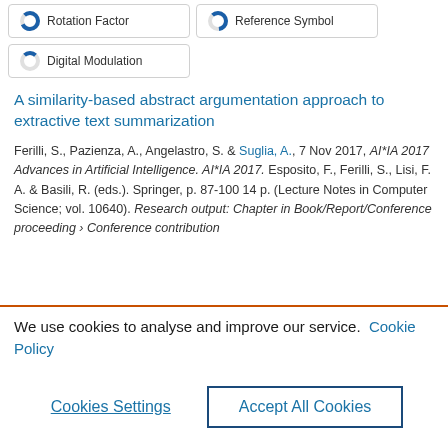[Figure (other): Two donut chart icons with labels: Rotation Factor and Reference Symbol]
[Figure (other): One donut chart icon with label: Digital Modulation]
A similarity-based abstract argumentation approach to extractive text summarization
Ferilli, S., Pazienza, A., Angelastro, S. & Suglia, A., 7 Nov 2017, AI*IA 2017 Advances in Artificial Intelligence. AI*IA 2017. Esposito, F., Ferilli, S., Lisi, F. A. & Basili, R. (eds.). Springer, p. 87-100 14 p. (Lecture Notes in Computer Science; vol. 10640). Research output: Chapter in Book/Report/Conference proceeding › Conference contribution
We use cookies to analyse and improve our service. Cookie Policy
Cookies Settings
Accept All Cookies